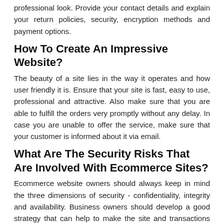professional look. Provide your contact details and explain your return policies, security, encryption methods and payment options.
How To Create An Impressive Website?
The beauty of a site lies in the way it operates and how user friendly it is. Ensure that your site is fast, easy to use, professional and attractive. Also make sure that you are able to fulfill the orders very promptly without any delay. In case you are unable to offer the service, make sure that your customer is informed about it via email.
What Are The Security Risks That Are Involved With Ecommerce Sites?
Ecommerce website owners should always keep in mind the three dimensions of security - confidentiality, integrity and availability. Business owners should develop a good strategy that can help to make the site and transactions secured. To avoid any hackers gain access to important confidential data, include encryption methods for any data transactions.